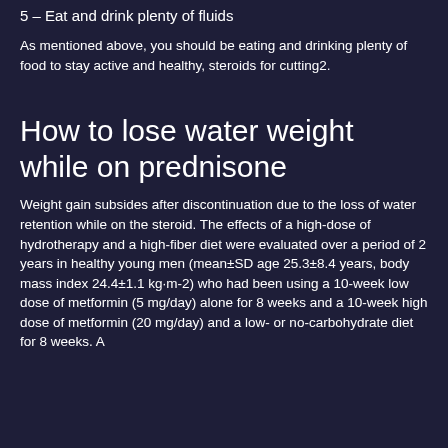5 – Eat and drink plenty of fluids
As mentioned above, you should be eating and drinking plenty of food to stay active and healthy, steroids for cutting2.
How to lose water weight while on prednisone
Weight gain subsides after discontinuation due to the loss of water retention while on the steroid. The effects of a high-dose of hydrotherapy and a high-fiber diet were evaluated over a period of 2 years in healthy young men (mean±SD age 25.3±8.4 years, body mass index 24.4±1.1 kg·m-2) who had been using a 10-week low dose of metformin (5 mg/day) alone for 8 weeks and a 10-week high dose of metformin (20 mg/day) and a low- or no-carbohydrate diet for 8 weeks. A total of 10 mg were examined high dose